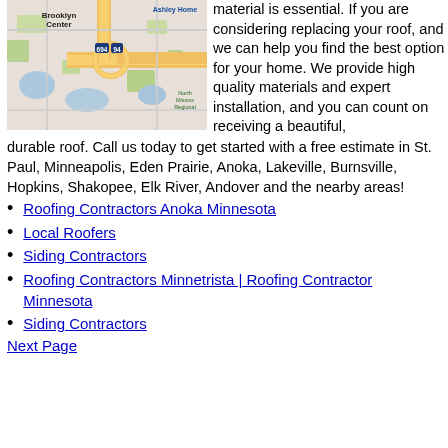[Figure (map): Google Maps screenshot showing Brooklyn Center area with highways 694 and 94, Ashley Homes label, North Mississippi Regional label, and surrounding neighborhoods with roads and water features.]
material is essential. If you are considering replacing your roof, and we can help you find the best option for your home. We provide high quality materials and expert installation, and you can count on receiving a beautiful, durable roof. Call us today to get started with a free estimate in St. Paul, Minneapolis, Eden Prairie, Anoka, Lakeville, Burnsville, Hopkins, Shakopee, Elk River, Andover and the nearby areas!
Roofing Contractors Anoka Minnesota
Local Roofers
Siding Contractors
Roofing Contractors Minnetrista | Roofing Contractor Minnesota
Siding Contractors
Next Page